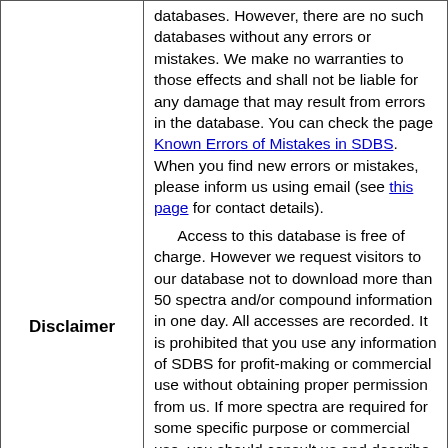Disclaimer
databases. However, there are no such databases without any errors or mistakes. We make no warranties to those effects and shall not be liable for any damage that may result from errors in the database. You can check the page Known Errors of Mistakes in SDBS. When you find new errors or mistakes, please inform us using email (see this page for contact details).
  Access to this database is free of charge. However we request visitors to our database not to download more than 50 spectra and/or compound information in one day. All accesses are recorded. It is prohibited that you use any information of SDBS for profit-making or commercial use without obtaining proper permission from us. If more spectra are required for some specific purpose or commercial use, you should consult us and describe the intended usage or purpose of our SDBS.
We also request that when you use the data of our SDBS in your publication or presentation, a proper acknowledgement be given as follows:
SDBSWeb : https://sdbs.db.aist.go.jp
(National Institute of Advanced Industrial...